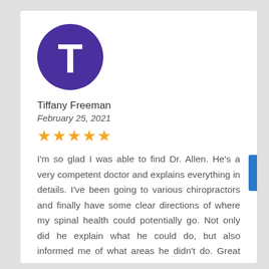[Figure (illustration): Purple circle avatar with white letter T representing reviewer Tiffany Freeman]
Tiffany Freeman
February 25, 2021
★★★★★ (5 stars)
I'm so glad I was able to find Dr. Allen. He's a very competent doctor and explains everything in details. I've been going to various chiropractors and finally have some clear directions of where my spinal health could potentially go. Not only did he explain what he could do, but also informed me of what areas he didn't do. Great mannerism and good energy throughout the office.